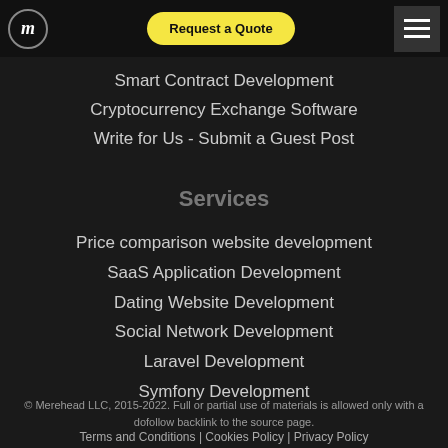Merehead logo | Request a Quote | hamburger menu
Smart Contract Development
Cryptocurrency Exchange Software
Write for Us - Submit a Guest Post
Services
Price comparison website development
SaaS Application Development
Dating Website Development
Social Network Development
Laravel Development
Symfony Development
© Merehead LLC, 2015-2022. Full or partial use of materials is allowed only with a dofollow backlink to the source page.
Terms and Conditions | Cookies Policy | Privacy Policy